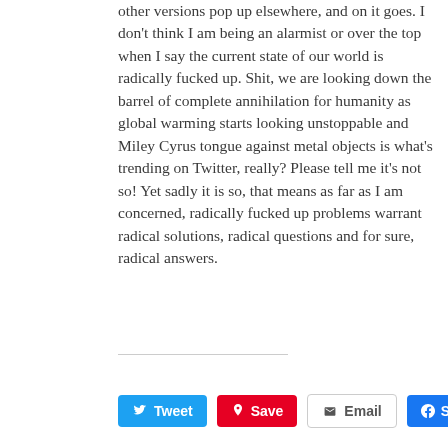other versions pop up elsewhere, and on it goes. I don't think I am being an alarmist or over the top when I say the current state of our world is radically fucked up. Shit, we are looking down the barrel of complete annihilation for humanity as global warming starts looking unstoppable and Miley Cyrus tongue against metal objects is what's trending on Twitter, really? Please tell me it's not so! Yet sadly it is so, that means as far as I am concerned, radically fucked up problems warrant radical solutions, radical questions and for sure, radical answers.